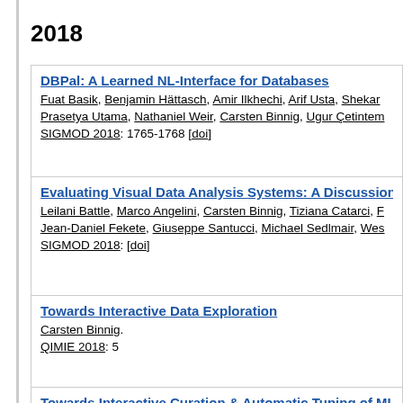2018
DBPal: A Learned NL-Interface for Databases
Fuat Basik, Benjamin Hättasch, Amir Ilkhechi, Arif Usta, Shekar Prasetya Utama, Nathaniel Weir, Carsten Binnig, Ugur Çetintem
SIGMOD 2018: 1765-1768 [doi]
Evaluating Visual Data Analysis Systems: A Discussion Rep...
Leilani Battle, Marco Angelini, Carsten Binnig, Tiziana Catarci, F... Jean-Daniel Fekete, Giuseppe Santucci, Michael Sedlmair, Wes...
SIGMOD 2018: [doi]
Towards Interactive Data Exploration
Carsten Binnig.
QIMIE 2018: 5
Towards Interactive Curation & Automatic Tuning of ML Pip...
Carsten Binnig, Benedetto Buratti, Yeounoh Chung, Cyrus Cou...